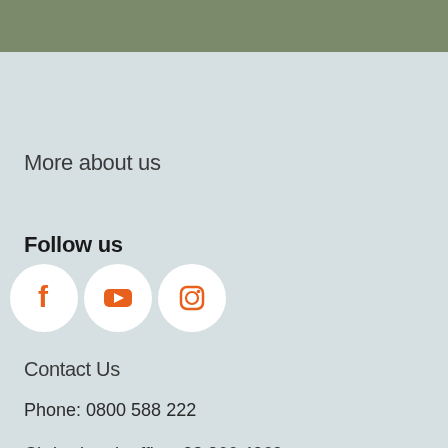[Figure (photo): Dark olive/green photographic strip at the top of the page]
More about us
Follow us
[Figure (illustration): Three social media icon circles: Facebook (f), YouTube (play button), Instagram (camera outline), all orange icons on white circular backgrounds]
Contact Us
Phone: 0800 588 222
Christchurch office: 03 366 4069